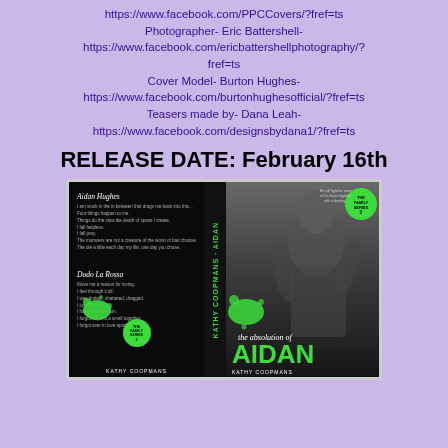https://www.facebook.com/PPCCovers/?fref=ts Photographer- Eric Battershell- https://www.facebook.com/ericbattershellphotography/?fref=ts Cover Model- Burton Hughes- https://www.facebook.com/burtonhughesofficial/?fref=ts Teasers made by- Dana Leah- https://www.facebook.com/designsbydana1/?fref=ts
RELEASE DATE: February 16th
[Figure (photo): Book cover spread for 'The Absolution of Aidan' by Kathy Coopmans, showing back cover with character quotes, spine, and front cover featuring a shirtless muscular man in black and white with green title text and paint splatters]